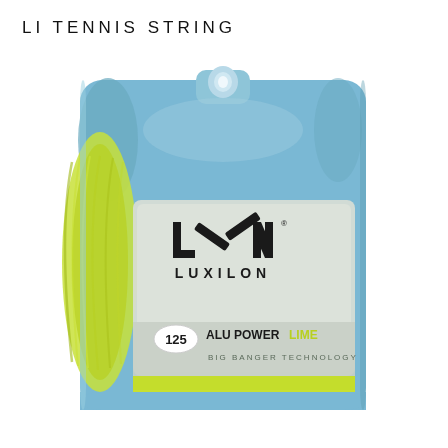LI TENNIS STRING
[Figure (photo): Product photo of a Luxilon ALU Power Lime 125 tennis string reel in blue plastic packaging. The package has a hang hole at the top, yellow-green string visible on the left side, a light grey label in the center featuring the Luxilon logo (LXN geometric mark above LUXILON text), a white oval badge with '125', bold text 'ALU POWER' in dark, 'LIME' in lime/yellow-green, and 'BIG BANGER TECHNOLOGY' in small grey text. A lime-green strip runs across the bottom of the package.]